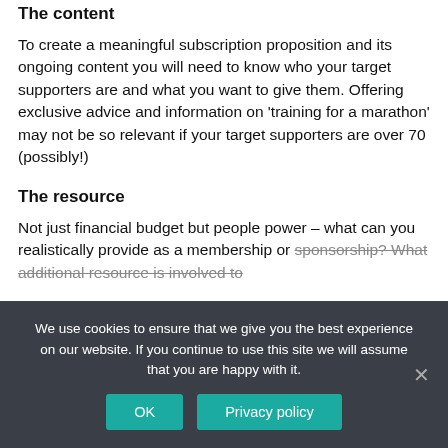The content
To create a meaningful subscription proposition and its ongoing content you will need to know who your target supporters are and what you want to give them. Offering exclusive advice and information on 'training for a marathon' may not be so relevant if your target supporters are over 70 (possibly!)
The resource
Not just financial budget but people power – what can you realistically provide as a membership or sponsorship? What additional resource is involved to
We use cookies to ensure that we give you the best experience on our website. If you continue to use this site we will assume that you are happy with it.